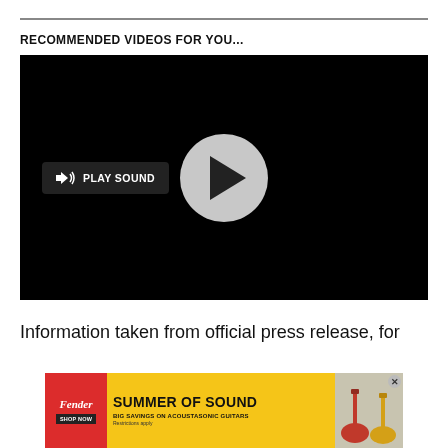RECOMMENDED VIDEOS FOR YOU...
[Figure (screenshot): Black video player with a gray circular play button in the center and a 'PLAY SOUND' button with speaker icon on the lower left]
Information taken from official press release, for
[Figure (other): Fender 'Summer of Sound' advertisement banner with red left section showing Fender logo and Shop Now button, yellow center with bold text 'SUMMER OF SOUND' and subtitle 'BIG SAVINGS ON ACOUSTASONIC GUITARS', and right section showing guitars]